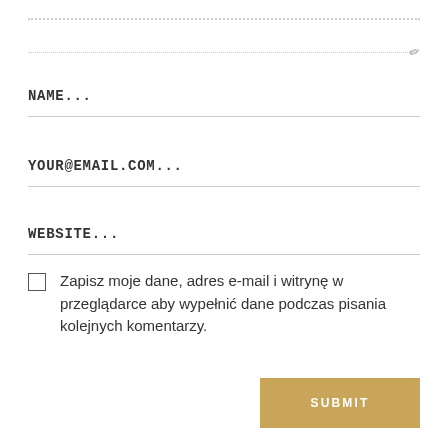NAME...
YOUR@EMAIL.COM...
WEBSITE...
Zapisz moje dane, adres e-mail i witrynę w przeglądarce aby wypełnić dane podczas pisania kolejnych komentarzy.
SUBMIT